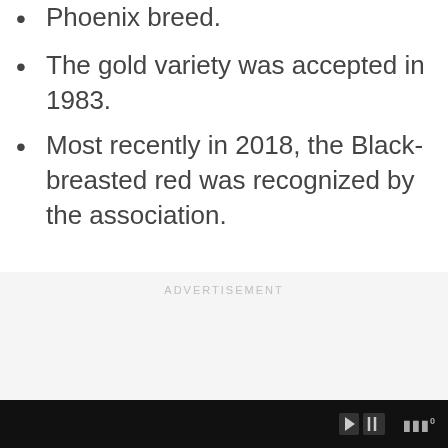Phoenix breed.
The gold variety was accepted in 1983.
Most recently in 2018, the Black-breasted red was recognized by the association.
[Figure (other): Advertisement placeholder box with 'ADVERTISEMENT' label in light gray text on a light gray background.]